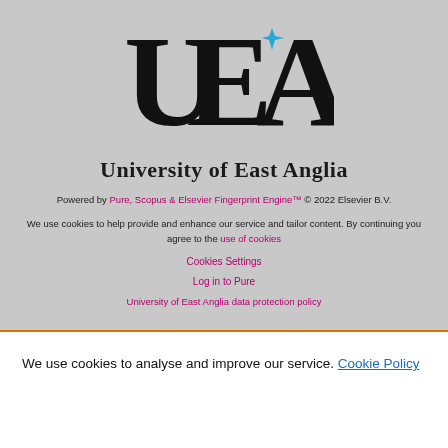[Figure (logo): University of East Anglia (UEA) logo — large black serif letters U, E, A with a blue four-pointed star, and the wordmark 'University of East Anglia' below]
Powered by Pure, Scopus & Elsevier Fingerprint Engine™ © 2022 Elsevier B.V.
We use cookies to help provide and enhance our service and tailor content. By continuing you agree to the use of cookies
Cookies Settings
Log in to Pure
University of East Anglia data protection policy
We use cookies to analyse and improve our service. Cookie Policy